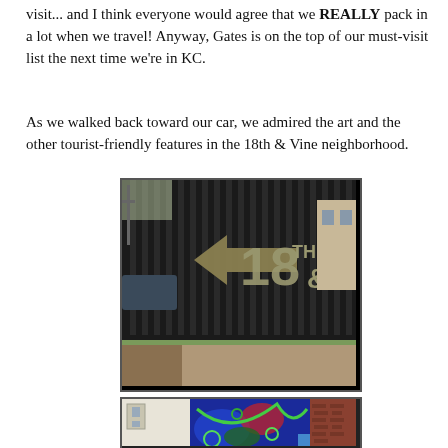visit... and I think everyone would agree that we REALLY pack in a lot when we travel! Anyway, Gates is on the top of our must-visit list the next time we're in KC.
As we walked back toward our car, we admired the art and the other tourist-friendly features in the 18th & Vine neighborhood.
[Figure (photo): Photo of a black metal fence/wall with a large arrow sign pointing left and the text '18TH & VINE' on it, taken outdoors near a sidewalk with grass and trees visible.]
[Figure (photo): Partial photo of a colorful mural on a building wall with blue, green, red colors, and a brick building adjacent to it.]